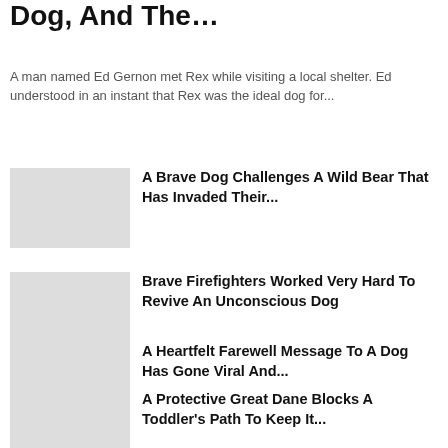Dog, And The…
A man named Ed Gernon met Rex while visiting a local shelter. Ed understood in an instant that Rex was the ideal dog for...
A Brave Dog Challenges A Wild Bear That Has Invaded Their...
Brave Firefighters Worked Very Hard To Revive An Unconscious Dog
A Heartfelt Farewell Message To A Dog Has Gone Viral And...
A Protective Great Dane Blocks A Toddler's Path To Keep It...